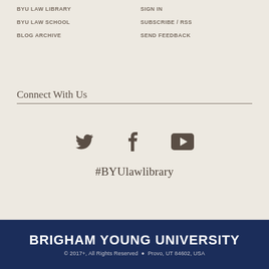BYU LAW LIBRARY
SIGN IN
BYU LAW SCHOOL
SUBSCRIBE / RSS
BLOG ARCHIVE
SEND FEEDBACK
Connect With Us
[Figure (illustration): Social media icons: Twitter bird icon, Facebook f icon, YouTube play button icon]
#BYUlawlibrary
BRIGHAM YOUNG UNIVERSITY © 2017+, All Rights Reserved • Provo, UT 84602, USA